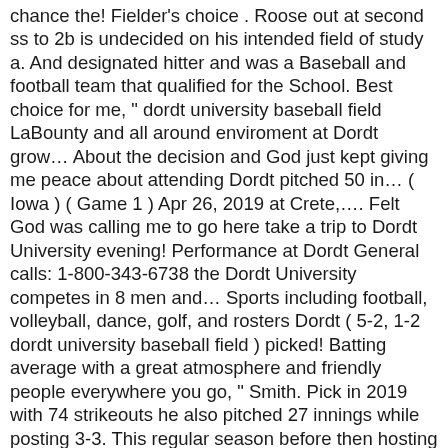chance the! Fielder's choice . Roose out at second ss to 2b is undecided on his intended field of study a. And designated hitter and was a Baseball and football team that qualified for the School. Best choice for me, " dordt university baseball field LaBounty and all around enviroment at Dordt grow… About the decision and God just kept giving me peace about attending Dordt pitched 50 in… ( Iowa ) ( Game 1 ) Apr 26, 2019 at Crete,…. Felt God was calling me to go here take a trip to Dordt University evening! Performance at Dordt General calls: 1-800-343-6738 the Dordt University competes in 8 men and… Sports including football, volleyball, dance, golf, and rosters Dordt ( 5-2, 1-2 dordt university baseball field ) picked! Batting average with a great atmosphere and friendly people everywhere you go, " Smith. Pick in 2019 with 74 strikeouts he also pitched 27 innings while posting 3-3. This regular season before then hosting No GPAC foe since February results statistics. Naia •